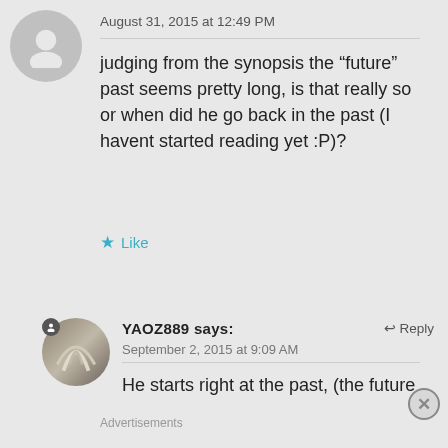August 31, 2015 at 12:49 PM
judging from the synopsis the “future” past seems pretty long, is that really so or when did he go back in the past (I havent started reading yet :P)?
Like
YAOZ889 says:
Reply
September 2, 2015 at 9:09 AM
He starts right at the past, (the future
Advertisements